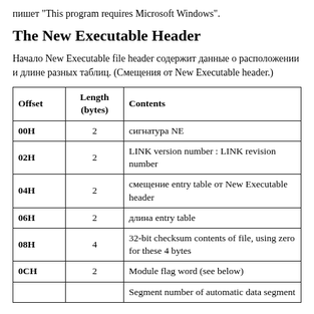пишет "This program requires Microsoft Windows".
The New Executable Header
Начало New Executable file header содержит данные о расположении и длине разных таблиц. (Смещения от New Executable header.)
| Offset | Length (bytes) | Contents |
| --- | --- | --- |
| 00H | 2 | сигнатура NE |
| 02H | 2 | LINK version number : LINK revision number |
| 04H | 2 | смещение entry table от New Executable header |
| 06H | 2 | длина entry table |
| 08H | 4 | 32-bit checksum contents of file, using zero for these 4 bytes |
| 0CH | 2 | Module flag word (see below) |
|  |  | Segment number of automatic data segment |